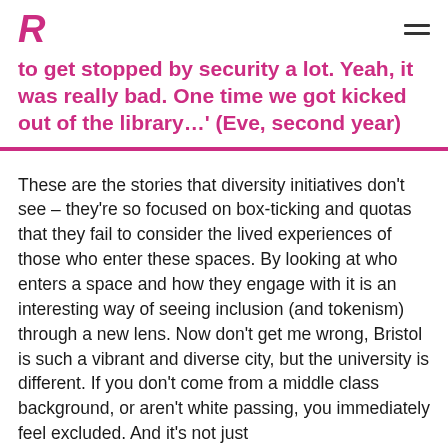R
to get stopped by security a lot. Yeah, it was really bad. One time we got kicked out of the library…' (Eve, second year)
These are the stories that diversity initiatives don't see – they're so focused on box-ticking and quotas that they fail to consider the lived experiences of those who enter these spaces. By looking at who enters a space and how they engage with it is an interesting way of seeing inclusion (and tokenism) through a new lens. Now don't get me wrong, Bristol is such a vibrant and diverse city, but the university is different. If you don't come from a middle class background, or aren't white passing, you immediately feel excluded. And it's not just